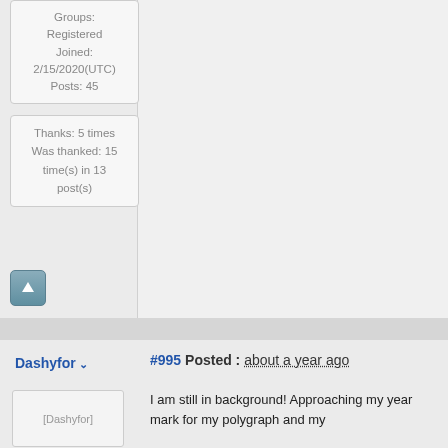Groups: Registered
Joined: 2/15/2020(UTC)
Posts: 45
Thanks: 5 times
Was thanked: 15 time(s) in 13 post(s)
[Figure (other): Teal up-arrow button]
#995 Posted : about a year ago
Dashyfor
[Figure (photo): Dashyfor avatar placeholder image]
I am still in background! Approaching my year mark for my polygraph and my